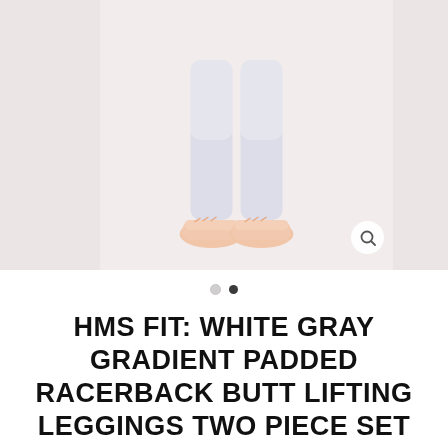[Figure (photo): Product photo carousel showing a model's lower body wearing white-gray gradient leggings and pink sneakers. Hot Miami Styles watermark visible. Left and right partial side panels visible. Magnifying glass icon in bottom right corner.]
YG113WhiteGray
HMS FIT: WHITE GRAY GRADIENT PADDED RACERBACK BUTT LIFTING LEGGINGS TWO PIECE SET